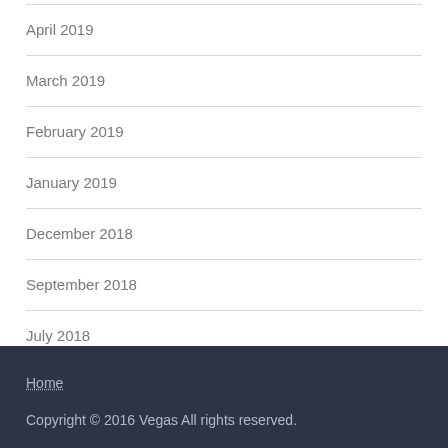April 2019
March 2019
February 2019
January 2019
December 2018
September 2018
July 2018
Home
Copyright © 2016 Vegas All rights reserved.